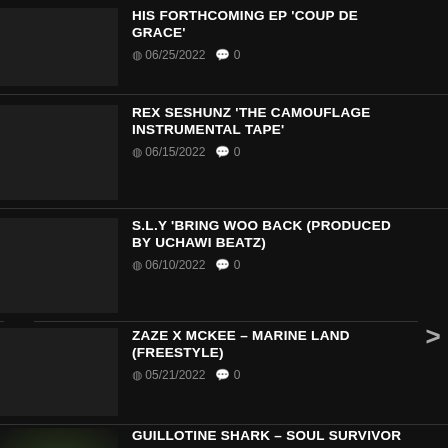HIS FORTHCOMING EP 'COUP DE GRACE'
REX SESHUNZ 'THE CAMOUFLAGE INSTRUMENTAL TAPE'
S.L.Y 'BRING WOO BACK (PRODUCED BY UCHAWI BEATZ)
ZAZE X MCKEE – MARINE LAND (FREESTYLE)
GUILLOTINE SHARK – SOUL SURVIVOR FT. E. SMITTY [OFFICIAL VIDEO]